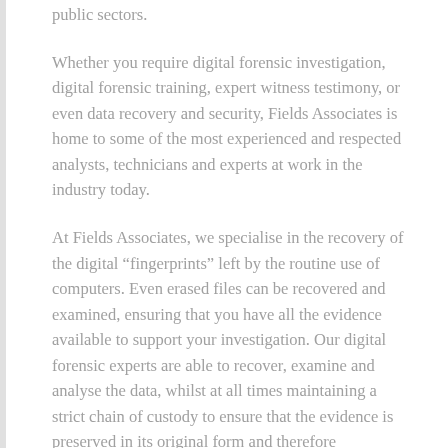public sectors.
Whether you require digital forensic investigation, digital forensic training, expert witness testimony, or even data recovery and security, Fields Associates is home to some of the most experienced and respected analysts, technicians and experts at work in the industry today.
At Fields Associates, we specialise in the recovery of the digital “fingerprints” left by the routine use of computers. Even erased files can be recovered and examined, ensuring that you have all the evidence available to support your investigation. Our digital forensic experts are able to recover, examine and analyse the data, whilst at all times maintaining a strict chain of custody to ensure that the evidence is preserved in its original form and therefore admissible in a court of law. We provide expert witness testimony